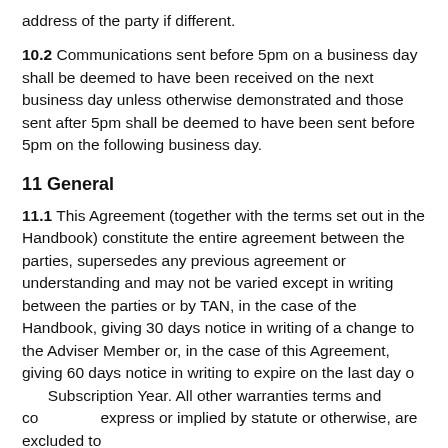address of the party if different.
10.2 Communications sent before 5pm on a business day shall be deemed to have been received on the next business day unless otherwise demonstrated and those sent after 5pm shall be deemed to have been sent before 5pm on the following business day.
11 General
11.1 This Agreement (together with the terms set out in the Handbook) constitute the entire agreement between the parties, supersedes any previous agreement or understanding and may not be varied except in writing between the parties or by TAN, in the case of the Handbook, giving 30 days notice in writing of a change to the Adviser Member or, in the case of this Agreement, giving 60 days notice in writing to expire on the last day of the Subscription Year. All other warranties terms and conditions, express or implied by statute or otherwise, are excluded to